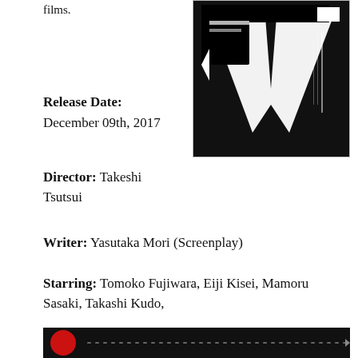films.
[Figure (photo): Black and white Japanese movie poster with large graphic letters and Japanese text.]
Release Date:
December 09th, 2017
Director: Takeshi Tsutsui
Writer: Yasutaka Mori (Screenplay)
Starring: Tomoko Fujiwara, Eiji Kisei, Mamoru Sasaki, Takashi Kudo,
Website
[Figure (screenshot): Black bottom bar with red circle logo and dotted line pattern, resembling a video player or media bar.]